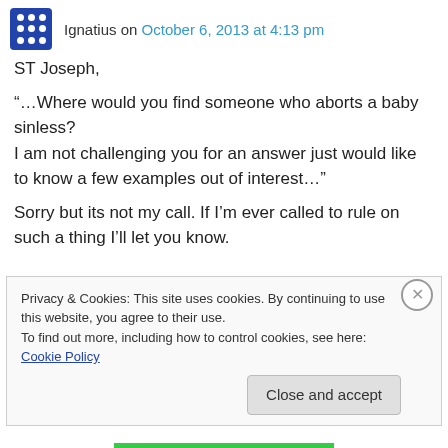Ignatius on October 6, 2013 at 4:13 pm
ST Joseph,
“…Where would you find someone who aborts a baby sinless?
I am not challenging you for an answer just would like to know a few examples out of interest…”

Sorry but its not my call. If I’m ever called to rule on such a thing I’ll let you know.
Privacy & Cookies: This site uses cookies. By continuing to use this website, you agree to their use.
To find out more, including how to control cookies, see here: Cookie Policy